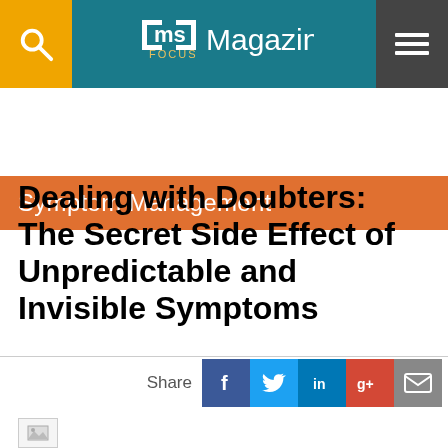ms FOCUS Magazine
Symptom Management
Dealing with Doubters: The Secret Side Effect of Unpredictable and Invisible Symptoms
Share
[Figure (screenshot): Partial image placeholder at bottom of page]